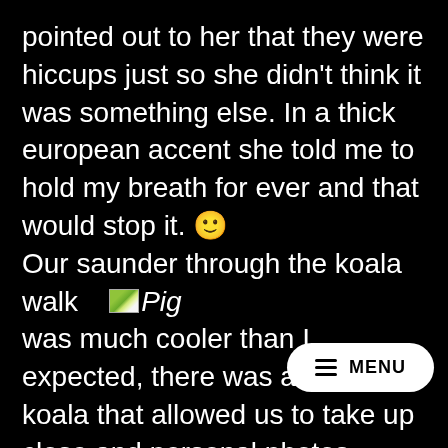pointed out to her that they were hiccups just so she didn't think it was something else. In a thick european accent she told me to hold my breath for ever and that would stop it. 🙂 Our saunder through the koala walk [Pig image] was much cooler than I expected, there was a low lying koala that allowed us to take up close and personal photos – maybe it was too drunk on eucalyptus leaves to climb any higher. A pig also let me take photos of it resting and we also saw some tammar wallabies h around in the brush. Mal alerted us that our
[Figure (other): MENU navigation button, white rounded rectangle with hamburger menu icon and MENU text in black]